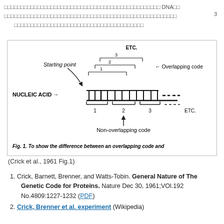DNA  3
[Figure (illustration): Diagram showing the difference between an overlapping code and a non-overlapping code on a nucleic acid strand. Starting point arrow indicates numbered overlapping windows (1, 2, 3, ETC.) reading from the same positions, while non-overlapping code brackets show sequential non-overlapping segments (1, 2, 3, ETC.) below the nucleic acid chain.]
Fig. 1.  To show the difference between an overlapping code and (Crick et al., 1961 Fig.1)
1. Crick, Barnett, Brenner, and Watts-Tobin. General Nature of The Genetic Code for Proteins. Nature Dec 30, 1961;VOl.192 No.4809:1227-1232 (PDF)
2. Crick, Brenner et al. experiment (Wikipedia)